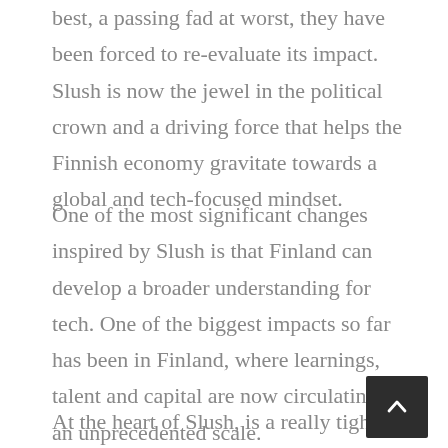best, a passing fad at worst, they have been forced to re-evaluate its impact. Slush is now the jewel in the political crown and a driving force that helps the Finnish economy gravitate towards a global and tech-focused mindset.
One of the most significant changes inspired by Slush is that Finland can develop a broader understanding for tech. One of the biggest impacts so far has been in Finland, where learnings, talent and capital are now circulating on an unprecedented scale.
At the heart of Slush, is a really tight-knit